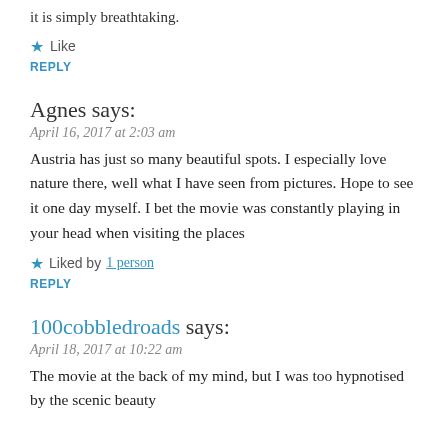it is simply breathtaking.
★ Like
REPLY
Agnes says:
April 16, 2017 at 2:03 am
Austria has just so many beautiful spots. I especially love nature there, well what I have seen from pictures. Hope to see it one day myself. I bet the movie was constantly playing in your head when visiting the places
★ Liked by 1 person
REPLY
100cobbledroads says:
April 18, 2017 at 10:22 am
The movie at the back of my mind, but I was too hypnotised by the scenic beauty